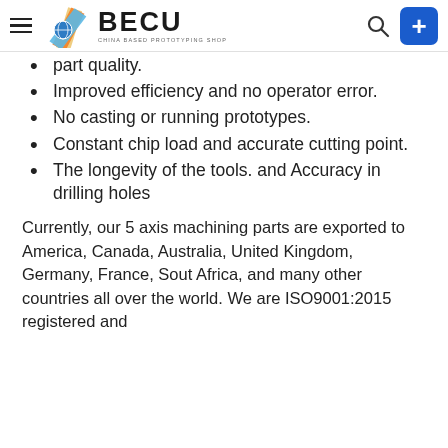BECU - CHINA BASED PROTOTYPING SHOP
part quality.
Improved efficiency and no operator error.
No casting or running prototypes.
Constant chip load and accurate cutting point.
The longevity of the tools. and Accuracy in drilling holes
Currently, our 5 axis machining parts are exported to America, Canada, Australia, United Kingdom, Germany, France, Sout Africa, and many other countries all over the world. We are ISO9001:2015 registered and